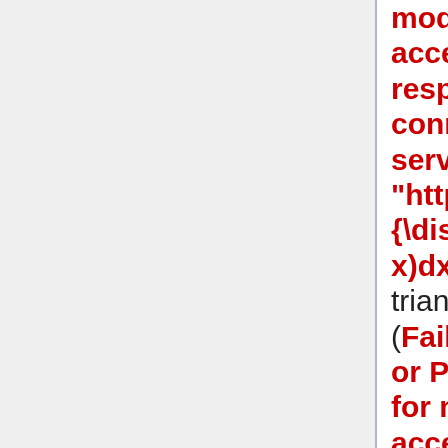modern browsers and accessibility tools): Invalid response ("Math extension cannot connect to Restbase.") from server "https://wikimedia.org/api/rest_v1/ {\displaystyle \oint_C [(y-\sin x)dx+\cos x dy]\,} where C is the triangle whose vertices are (0,0), (Failed to parse (MathML with SVG or PNG fallback (recommended for modern browsers and accessibility tools): Invalid response ("Math extension cannot connect to Restbase.") from server "https://wikimedia.org/api/rest_v1/